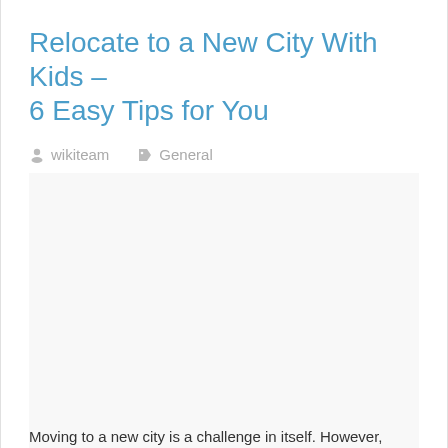Relocate to a New City With Kids – 6 Easy Tips for You
wikiteam   General
Moving to a new city is a challenge in itself. However,